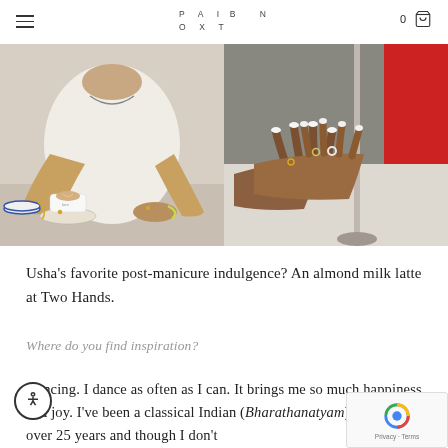PAINBOX (logo) | 0 (cart)
[Figure (photo): Two-panel photo: left panel shows a woman in a white knit sweater holding a latte cup with latte art at a cafe table with blue-rimmed dishes; right panel shows a close-up of hands resting on a white table, wearing rings and showing white-tipped manicured nails, with a red chair in background.]
Usha’s favorite post-manicure indulgence? An almond milk latte at Two Hands.
Where do you find inspiration?
Dancing. I dance as often as I can. It brings me so much happiness and joy. I’ve been a classical Indian (Bharathanatyam) dancer for over 25 years and though I don’t